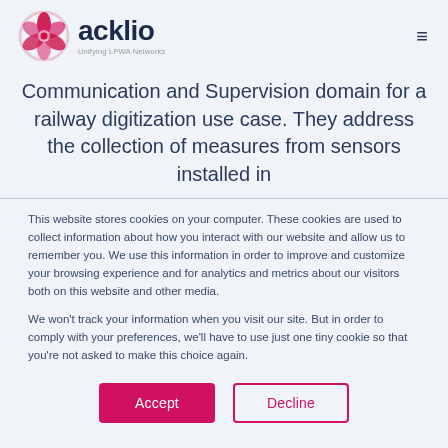[Figure (logo): Acklio logo: circular geometric flower/network icon in crimson/pink, with company name 'acklio' in dark navy and tagline 'Unifying LPWA Networks']
Communication and Supervision domain for a railway digitization use case. They address the collection of measures from sensors installed in
This website stores cookies on your computer. These cookies are used to collect information about how you interact with our website and allow us to remember you. We use this information in order to improve and customize your browsing experience and for analytics and metrics about our visitors both on this website and other media.

We won't track your information when you visit our site. But in order to comply with your preferences, we'll have to use just one tiny cookie so that you're not asked to make this choice again.